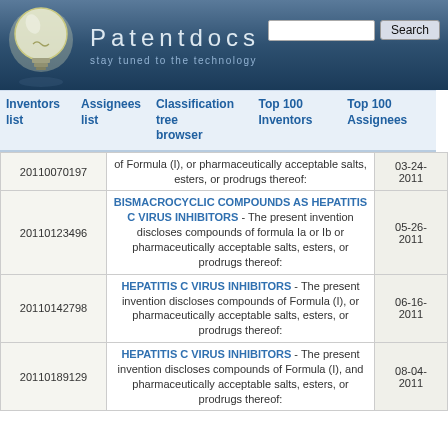Patentdocs — stay tuned to the technology
Inventors list | Assignees list | Classification tree browser | Top 100 Inventors | Top 100 Assignees
|  | Publication Number | Description | Date |
| --- | --- | --- | --- |
|  | 20110070197 | of Formula (I), or pharmaceutically acceptable salts, esters, or prodrugs thereof: | 03-24-2011 |
|  | 20110123496 | BISMACROCYCLIC COMPOUNDS AS HEPATITIS C VIRUS INHIBITORS - The present invention discloses compounds of formula Ia or Ib or pharmaceutically acceptable salts, esters, or prodrugs thereof: | 05-26-2011 |
|  | 20110142798 | HEPATITIS C VIRUS INHIBITORS - The present invention discloses compounds of Formula (I), or pharmaceutically acceptable salts, esters, or prodrugs thereof: | 06-16-2011 |
|  | 20110189129 | HEPATITIS C VIRUS INHIBITORS - The present invention discloses compounds of Formula (I), and pharmaceutically acceptable salts, esters, or prodrugs thereof: | 08-04-2011 |